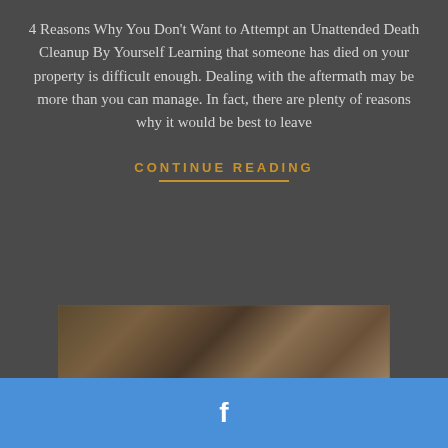4 Reasons Why You Don't Want to Attempt an Unattended Death Cleanup By Yourself Learning that someone has died on your property is difficult enough. Dealing with the aftermath may be more than you can manage. In fact, there are plenty of reasons why it would be best to leave
CONTINUE READING
[Figure (photo): Blurred photo of a cluttered room with stacks of books and miscellaneous items, partially visible text at the bottom reading 't Professional Hoarding Cleanup Ser']
[Figure (logo): Facebook social media icon (letter f) on a blue background bar at the bottom of the page]